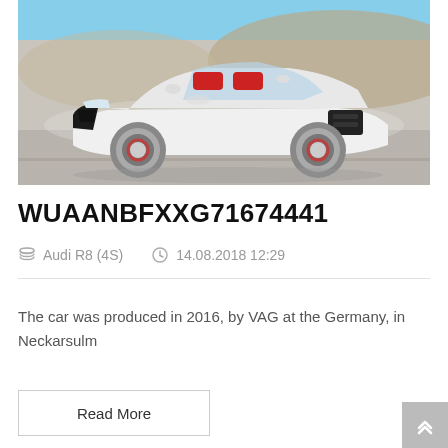[Figure (photo): White Audi R8 (4S) convertible/spyder with red interior, photographed outdoors on a road with dry hills in the background. The car faces slightly left, top-down, showing the open cockpit with red seats.]
WUAANBFXXG71674441
Audi R8 (4S)   14.08.2018 12:29
The car was produced in 2016, by VAG at the Germany, in Neckarsulm
Read More